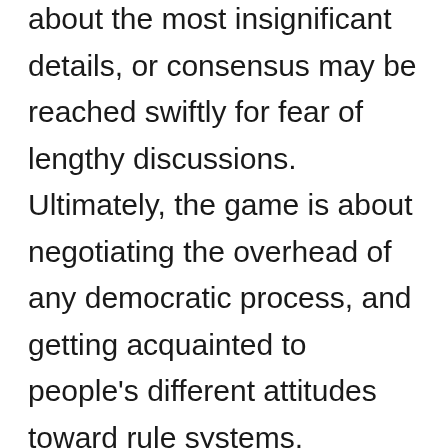about the most insignificant details, or consensus may be reached swiftly for fear of lengthy discussions. Ultimately, the game is about negotiating the overhead of any democratic process, and getting acquainted to people's different attitudes toward rule systems.

R&R started as a joke during a particularly convoluted DSA meeting, and it's meant to be a bit of a cursed